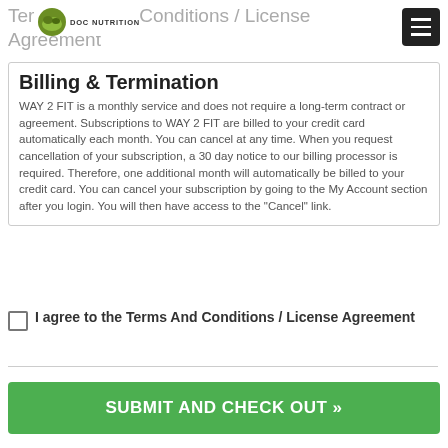Terms And Conditions / License Agreement
Billing & Termination
WAY 2 FIT is a monthly service and does not require a long-term contract or agreement. Subscriptions to WAY 2 FIT are billed to your credit card automatically each month. You can cancel at any time. When you request cancellation of your subscription, a 30 day notice to our billing processor is required. Therefore, one additional month will automatically be billed to your credit card. You can cancel your subscription by going to the My Account section after you login. You will then have access to the "Cancel" link.
I agree to the Terms And Conditions / License Agreement
SUBMIT AND CHECK OUT »